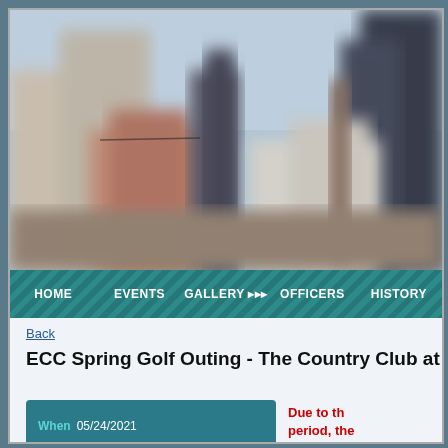[Figure (photo): Blurred cityscape with tall buildings and blue sky, used as a hero/banner image on a website.]
HOME  EVENTS  GALLERY  OFFICERS  HISTORY
Back
ECC Spring Golf Outing - The Country Club at Muirf
When: 05/24/2021
Due to th period, the